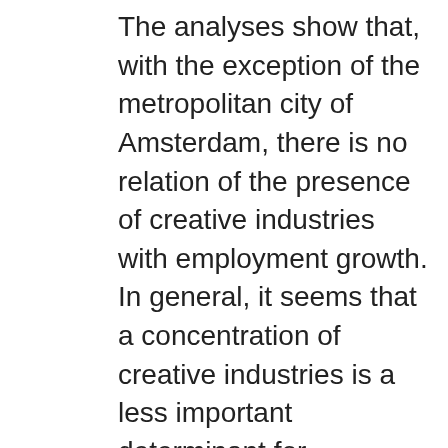The analyses show that, with the exception of the metropolitan city of Amsterdam, there is no relation of the presence of creative industries with employment growth. In general, it seems that a concentration of creative industries is a less important determinant for employment growth in cities than a concentration of creative people/creative class. Creative industries do not seem to act as a catalyst for the effect of knowledge (spillovers) on urban economic growth in general. This seems to